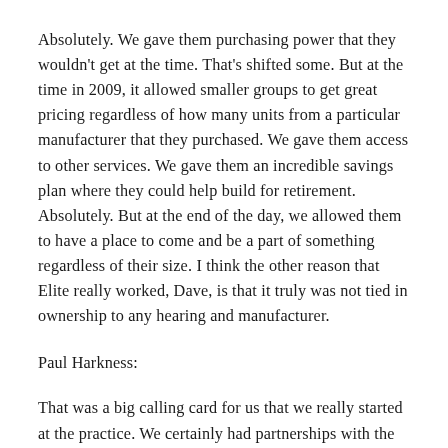Absolutely. We gave them purchasing power that they wouldn't get at the time. That's shifted some. But at the time in 2009, it allowed smaller groups to get great pricing regardless of how many units from a particular manufacturer that they purchased. We gave them access to other services. We gave them an incredible savings plan where they could help build for retirement. Absolutely. But at the end of the day, we allowed them to have a place to come and be a part of something regardless of their size. I think the other reason that Elite really worked, Dave, is that it truly was not tied in ownership to any hearing and manufacturer.
Paul Harkness:
That was a big calling card for us that we really started at the practice. We certainly had partnerships with the